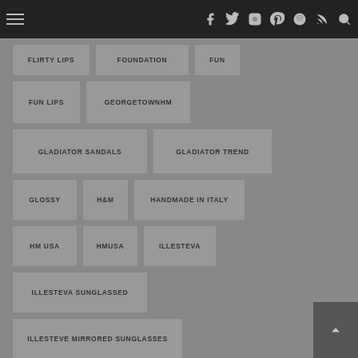Navigation bar with hamburger menu and social icons: Facebook, Twitter, Instagram, Pinterest, Spotify, RSS, Search
FLIRTY LIPS
FOUNDATION
FUN
FUN LIPS
GEORGETOWNHM
GLADIATOR SANDALS
GLADIATOR TREND
GLOSSY
H&M
HANDMADE IN ITALY
HM USA
HMUSA
ILLESTEVA
ILLESTEVA SUNGLASSED
ILLESTEVE MIRRORED SUNGLASSES